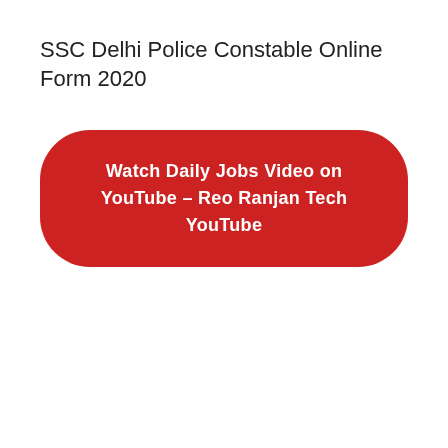SSC Delhi Police Constable Online Form 2020
[Figure (other): Red rounded rectangle button with white bold text: Watch Daily Jobs Video on YouTube – Reo Ranjan Tech YouTube]